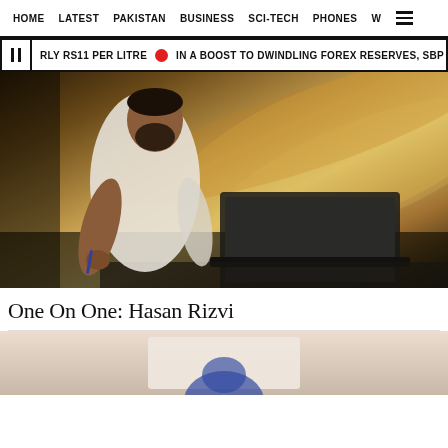HOME  LATEST  PAKISTAN  BUSINESS  SCI-TECH  PHONES  W  ☰
▎RLY RS11 PER LITRE  ⬤  IN A BOOST TO DWINDLING FOREX RESERVES, SBP RECEIV
[Figure (photo): Man in white shalwar kameez sitting at a desk with a laptop and pen, dramatic lighting against a wooden background. Subject is Hasan Rizvi.]
One On One: Hasan Rizvi
[Figure (photo): Second photo partially visible at bottom of page, light beige/pink background with a person sitting.]